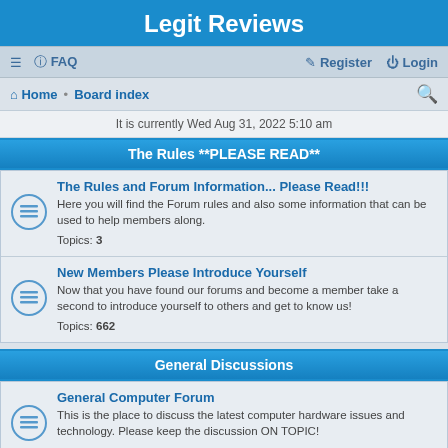Legit Reviews
≡ FAQ   Register Login
Home · Board index
It is currently Wed Aug 31, 2022 5:10 am
The Rules **PLEASE READ**
The Rules and Forum Information... Please Read!!!
Here you will find the Forum rules and also some information that can be used to help members along.
Topics: 3
New Members Please Introduce Yourself
Now that you have found our forums and become a member take a second to introduce yourself to others and get to know us!
Topics: 662
General Discussions
General Computer Forum
This is the place to discuss the latest computer hardware issues and technology. Please keep the discussion ON TOPIC!
Topics: 2901
Legit Reviews Review Forum
A place to give your thoughts on our reviews!
Topics: 2850